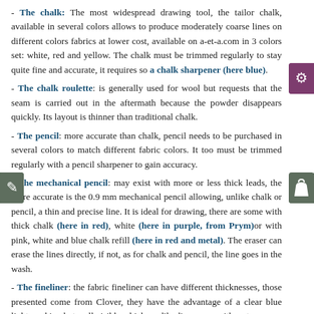- The chalk: The most widespread drawing tool, the tailor chalk, available in several colors allows to produce moderately coarse lines on different colors fabrics at lower cost, available on a-et-a.com in 3 colors set: white, red and yellow. The chalk must be trimmed regularly to stay quite fine and accurate, it requires so a chalk sharpener (here blue).
- The chalk roulette: is generally used for wool but requests that the seam is carried out in the aftermath because the powder disappears quickly. Its layout is thinner than traditional chalk.
- The pencil: more accurate than chalk, pencil needs to be purchased in several colors to match different fabric colors. It too must be trimmed regularly with a pencil sharpener to gain accuracy.
- The mechanical pencil: may exist with more or less thick leads, the more accurate is the 0.9 mm mechanical pencil allowing, unlike chalk or pencil, a thin and precise line. It is ideal for drawing, there are some with thick chalk (here in red), white (here in purple, from Prym)or with pink, white and blue chalk refill (here in red and metal). The eraser can erase the lines directly, if not, as for chalk and pencil, the line goes in the wash.
- The fineliner: the fabric fineliner can have different thicknesses, those presented come from Clover, they have the advantage of a clear blue light marking but well visible which readily disappears with water.
- Lines marker : allows you to draw with a fabric that clearly marks the fold as wild silk. Is used for instance when you can not make pencil line because the fabric is clear or transparent (see our Clover model here).